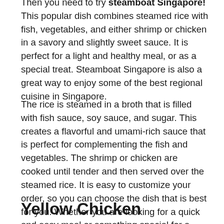Then you need to try steamboat Singapore! This popular dish combines steamed rice with fish, vegetables, and either shrimp or chicken in a savory and slightly sweet sauce. It is perfect for a light and healthy meal, or as a special treat. Steamboat Singapore is also a great way to enjoy some of the best regional cuisine in Singapore.
The rice is steamed in a broth that is filled with fish sauce, soy sauce, and sugar. This creates a flavorful and umami-rich sauce that is perfect for complementing the fish and vegetables. The shrimp or chicken are cooked until tender and then served over the steamed rice. It is easy to customize your order, so you can choose the dish that is best for you. Whether you are looking for a quick and easy meal or something special for a special occasion, steamboat Singapore is a must-try!
Yellow Chicken